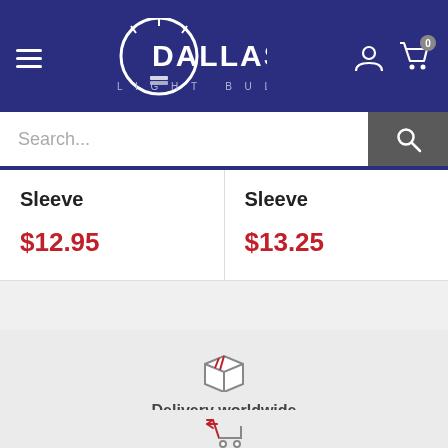[Figure (logo): Dallas Light Bulb logo with lightbulb graphic and brand name on dark blue header background]
Search...
Sleeve
$12.95
Sleeve
$13.25
[Figure (illustration): Box/package icon representing delivery]
Delivery worldwide
from Dallas, Texas
[Figure (illustration): Shopping cart return/arrow icon]